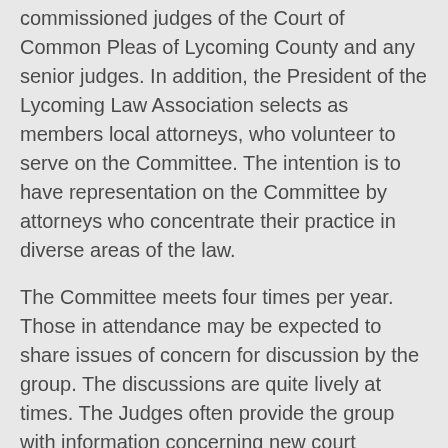commissioned judges of the Court of Common Pleas of Lycoming County and any senior judges. In addition, the President of the Lycoming Law Association selects as members local attorneys, who volunteer to serve on the Committee. The intention is to have representation on the Committee by attorneys who concentrate their practice in diverse areas of the law.
The Committee meets four times per year. Those in attendance may be expected to share issues of concern for discussion by the group. The discussions are quite lively at times. The Judges often provide the group with information concerning new court initiatives and may use the group as a "sounding board" to explore acceptance among members of the bar. In addition, members of the bar may raise concerns about the operation of the court system or other issues important to lawyers.
The Committee facilitates cooperation among all